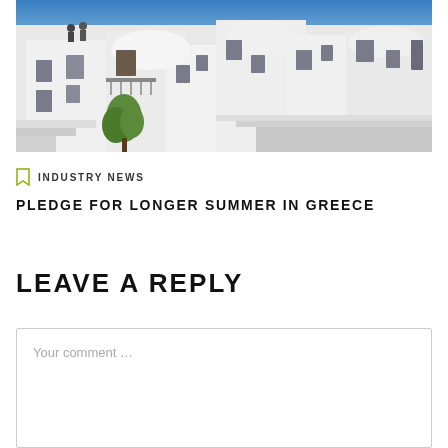[Figure (photo): Photograph of white-washed buildings in Santorini, Greece, with blue sky in the background and a small green tree visible.]
INDUSTRY NEWS
PLEDGE FOR LONGER SUMMER IN GREECE
LEAVE A REPLY
Your comment ...